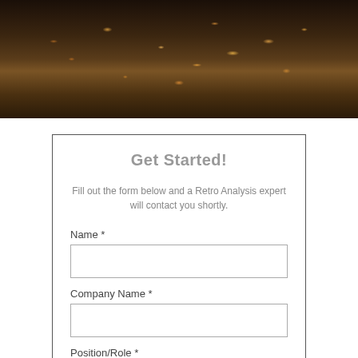[Figure (photo): Dark background photo showing scattered small golden/amber colored items (seeds or grains) on a dark brown/black surface]
Get Started!
Fill out the form below and a Retro Analysis expert will contact you shortly.
Name *
Company Name *
Position/Role *